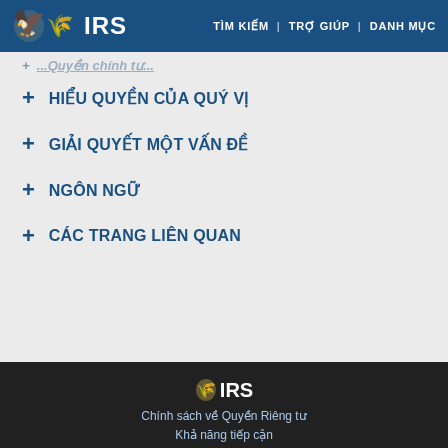IRS | TÌM KIẾM | TRỢ GIÚP | DANH MỤC
+ HIỂU QUYỀN CỦA QUÝ VỊ
+ GIẢI QUYẾT MỘT VẤN ĐỀ
+ NGÔN NGỮ
+ CÁC TRANG LIÊN QUAN
[Figure (illustration): Social media icons: Facebook, Twitter, Instagram, LinkedIn, YouTube, and IRS eagle logo]
IRS logo — Chính sách về Quyền Riêng tư — Khả năng tiếp cận